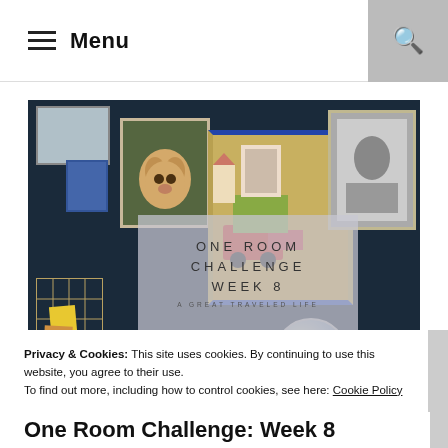Menu
[Figure (photo): Interior room photo showing a dark navy gallery wall with framed artwork including a dog portrait painting and colorful illustrations, a wire memo board with sticky notes, a marble desk surface, a globe, and glass terrarium. Overlay text reads: ONE ROOM CHALLENGE WEEK 8 / A GREAT TRAVELED LIFE]
Privacy & Cookies: This site uses cookies. By continuing to use this website, you agree to their use.
To find out more, including how to control cookies, see here: Cookie Policy
Close and accept
One Room Challenge: Week 8